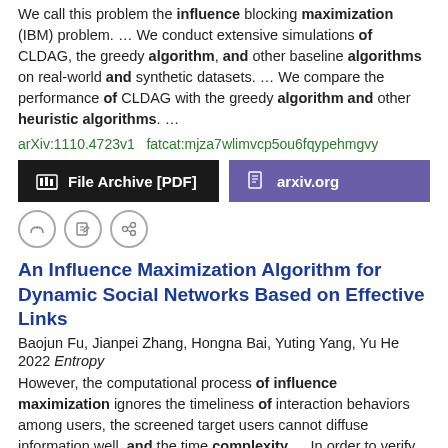We call this problem the influence blocking maximization (IBM) problem. ... We conduct extensive simulations of CLDAG, the greedy algorithm, and other baseline algorithms on real-world and synthetic datasets. ... We compare the performance of CLDAG with the greedy algorithm and other heuristic algorithms. ...
arXiv:1110.4723v1  fatcat:mjza7wlimvcp5ou6fqypehmgvy
File Archive [PDF]   arxiv.org
An Influence Maximization Algorithm for Dynamic Social Networks Based on Effective Links
Baojun Fu, Jianpei Zhang, Hongna Bai, Yuting Yang, Yu He
2022 Entropy
However, the computational process of influence maximization ignores the timeliness of interaction behaviors among users, the screened target users cannot diffuse information well, and the time complexity ... In order to verify the effectiveness of the algorithm, five typical influence maximization methods are compared and analyzed on four real data sets. ... algorithm including a temporal heuristic phase and a temporal greedy phase to solve for nodes that